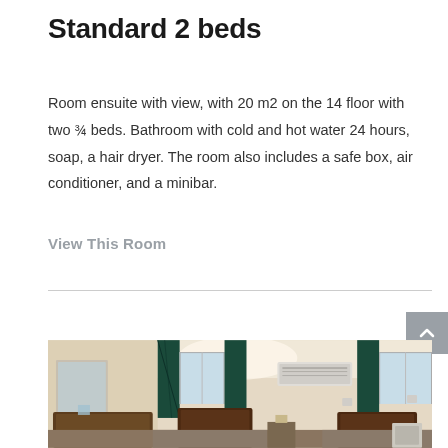Standard 2 beds
Room ensuite with view, with 20 m2 on the 14 floor with two ¾ beds. Bathroom with cold and hot water 24 hours, soap, a hair dryer. The room also includes a safe box, air conditioner, and a minibar.
View This Room
[Figure (photo): Interior photo of a hotel room showing two beds with dark wood headboards, teal/dark green curtains on multiple windows, a dresser with mirror on the left, an air conditioning unit on the wall, and cream-colored walls. The room has a soft ceiling light.]